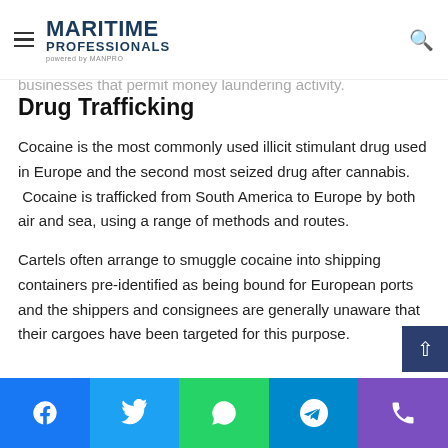MARITIME PROFESSIONALS powered by MANPRO
with the state of the cocaine trade.  Although much of the income is spent on houses and expensive cars, it also flows into industry, financial groups and other businesses that permit money laundering activity.
Drug Trafficking
Cocaine is the most commonly used illicit stimulant drug used in Europe and the second most seized drug after cannabis.  Cocaine is trafficked from South America to Europe by both air and sea, using a range of methods and routes.
Cartels often arrange to smuggle cocaine into shipping containers pre-identified as being bound for European ports and the shippers and consignees are generally unaware that their cargoes have been targeted for this purpose.
Facebook Twitter WhatsApp Telegram Phone